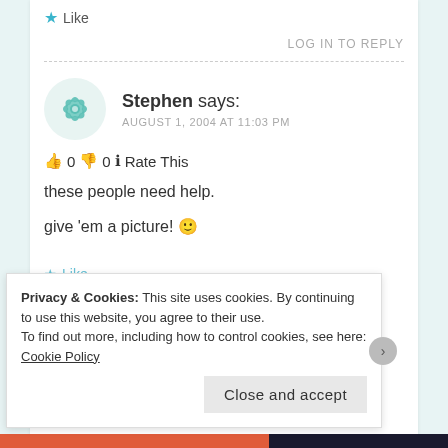★ Like
LOG IN TO REPLY
Stephen says: AUGUST 1, 2004 AT 11:03 PM
👍 0 👎 0 ℹ Rate This
these people need help.
give 'em a picture! 🙂
★ Like
Privacy & Cookies: This site uses cookies. By continuing to use this website, you agree to their use.
To find out more, including how to control cookies, see here: Cookie Policy
Close and accept